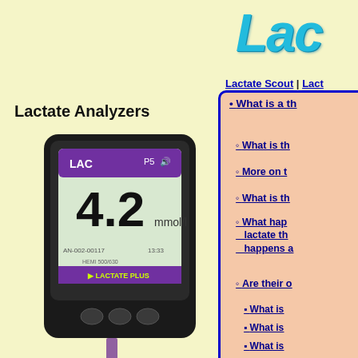Lac
Lactate Analyzers
Lactate Scout | Lact
[Figure (photo): Lactate Plus blood lactate analyzer device showing 4.2 mmol/L reading on display screen]
Lactate Plus
$280 - 13 Seconds
[Figure (photo): Hand holding a blue lactate analyzer device showing 42 on display]
What is a th
What is th
More on t
What is th
What hap lactate th happens a
Are their o
What is
What is
What is